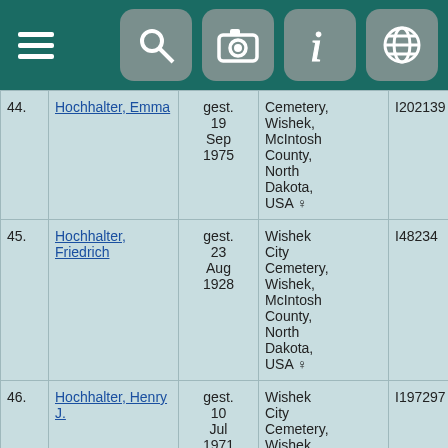[Figure (screenshot): Dark teal navigation bar with hamburger menu icon on the left and four gray rounded square icons (search, camera, info, globe) on the right]
| # | Name | Date | Place | ID |
| --- | --- | --- | --- | --- |
| 44. | Hochhalter, Emma | gest. 19 Sep 1975 | Cemetery, Wishek, McIntosh County, North Dakota, USA ♀ | I202139 |
| 45. | Hochhalter, Friedrich | gest. 23 Aug 1928 | Wishek City Cemetery, Wishek, McIntosh County, North Dakota, USA ♀ | I48234 |
| 46. | Hochhalter, Henry J. | gest. 10 Jul 1971 | Wishek City Cemetery, Wishek, McIntosh County, North Dakota, USA ♀ | I197297 |
|  |  |  | Wishek City ... |  |